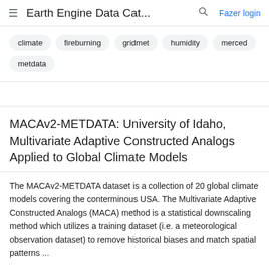Earth Engine Data Cat... Fazer login
climate
fireburning
gridmet
humidity
merced
metdata
MACAv2-METDATA: University of Idaho, Multivariate Adaptive Constructed Analogs Applied to Global Climate Models
The MACAv2-METDATA dataset is a collection of 20 global climate models covering the conterminous USA. The Multivariate Adaptive Constructed Analogs (MACA) method is a statistical downscaling method which utilizes a training dataset (i.e. a meteorological observation dataset) to remove historical biases and match spatial patterns ...